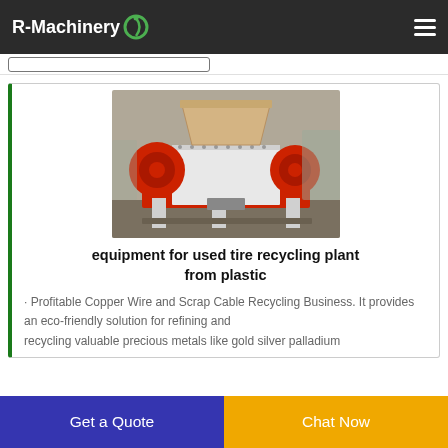R-Machinery
[Figure (photo): Industrial plastic/tire shredder machine with red body panels, white hopper on top, on a factory floor]
equipment for used tire recycling plant from plastic
· Profitable Copper Wire and Scrap Cable Recycling Business. It provides an eco-friendly solution for refining and recycling valuable precious metals like gold silver palladium